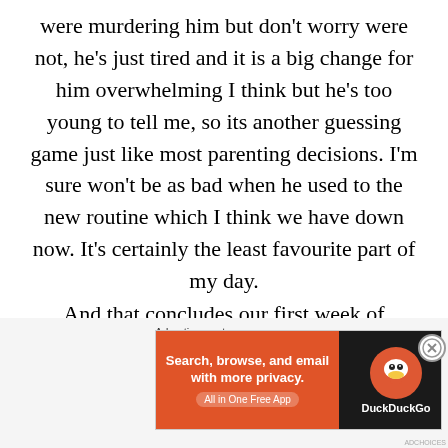were murdering him but don't worry were not, he's just tired and it is a big change for him overwhelming I think but he's too young to tell me, so its another guessing game just like most parenting decisions. I'm sure won't be as bad when he used to the new routine which I think we have down now. It's certainly the least favourite part of my day.
And that concludes our first week of rambling I mean pre-school thoughts feelings, emotion and
[Figure (other): DuckDuckGo advertisement banner: 'Search, browse, and email with more privacy. All in One Free App' on orange background with DuckDuckGo logo on dark background]